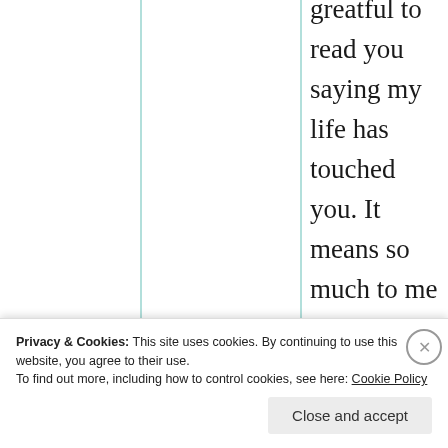greatful to read you saying my life has touched you. It means so much to me Krish and I see you empathic to my writings 😇🙏
★ Like
Jas krish
Privacy & Cookies: This site uses cookies. By continuing to use this website, you agree to their use. To find out more, including how to control cookies, see here: Cookie Policy
Close and accept